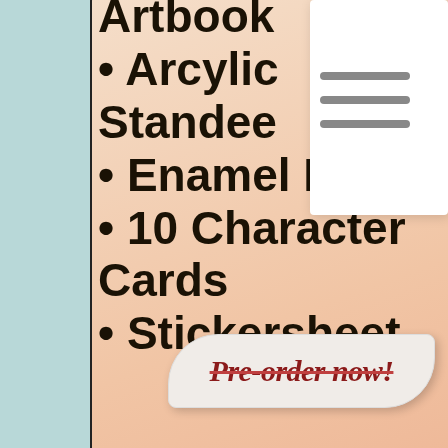Artbook
Arcylic Standee
Enamel Pin
10 Character Cards
Stickersheet
[Figure (illustration): Hamburger menu icon with three horizontal gray lines on white card background]
Pre-order now!